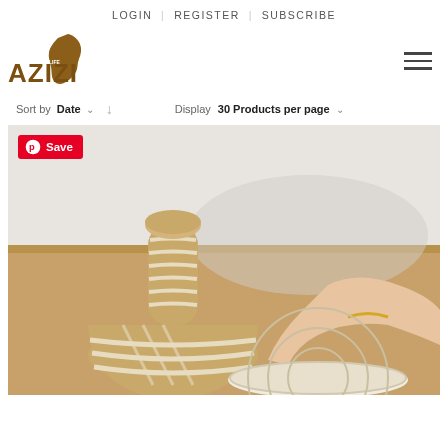LOGIN | REGISTER | SUBSCRIBE
[Figure (logo): Azizi Life logo with Africa map silhouette in brown/gold]
Sort by Date ↓  Display 30 Products per page
[Figure (photo): Woven African basket with lid and a hand holding a round woven tray on a wooden table. Pinterest Save button overlay in top-left.]